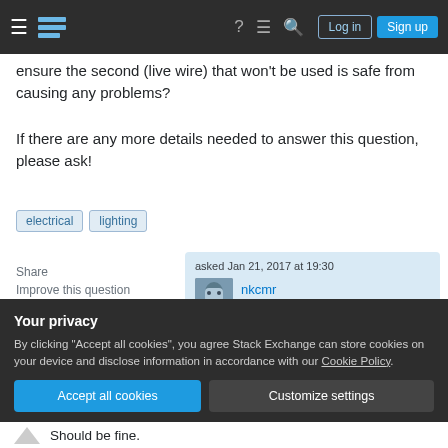Stack Exchange navigation bar with hamburger menu, logo, help, comments, search icons, Log in and Sign up buttons
ensure the second (live wire) that won't be used is safe from causing any problems?
If there are any more details needed to answer this question, please ask!
electrical
lighting
Share
Improve this question
Follow
asked Jan 21, 2017 at 19:30
nkcmr 113 ●4
Your privacy
By clicking "Accept all cookies", you agree Stack Exchange can store cookies on your device and disclose information in accordance with our Cookie Policy.
Accept all cookies
Customize settings
Should be fine.